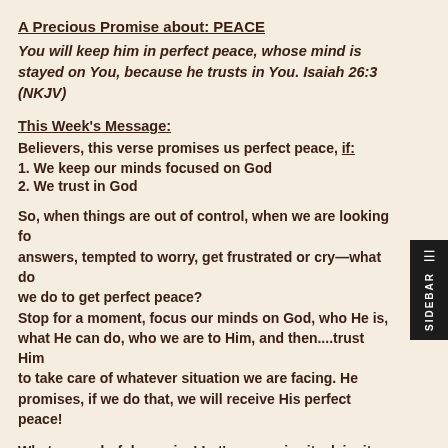A Precious Promise about: PEACE
You will keep him in perfect peace, whose mind is stayed on You, because he trusts in You.  Isaiah 26:3 (NKJV)
This Week's Message:
Believers, this verse promises us perfect peace, if:
1. We keep our minds focused on God
2. We trust in God
So, when things are out of control, when we are looking for answers, tempted to worry, get frustrated or cry—what do we do to get perfect peace?
Stop for a moment, focus our minds on God, who He is, what He can do, who we are to Him, and then....trust Him to take care of whatever situation we are facing. He promises, if we do that, we will receive His perfect peace!
What a wonderful promise! Let's memorize it, claim it and